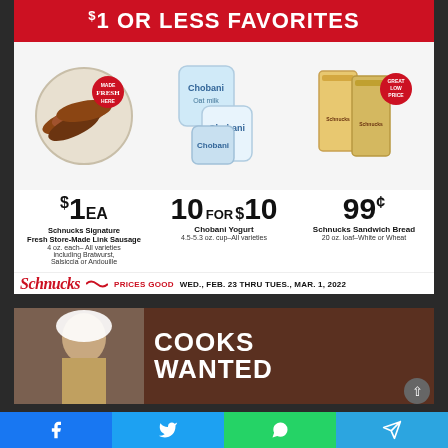$1 OR LESS FAVORITES
[Figure (photo): Schnucks store-made link sausages on a white plate with MADE FRESH HERE badge]
[Figure (photo): Multiple Chobani yogurt cups in various flavors]
[Figure (photo): Two loaves of Schnucks Sandwich Bread with GREAT LOW PRICE badge]
$1 EA
Schnucks Signature Fresh Store-Made Link Sausage
4 oz. each– All varieties including Bratwurst, Salsiccia or Andouille
10 FOR $10
Chobani Yogurt
4.5-5.3 oz. cup–All varieties
99¢
Schnucks Sandwich Bread
20 oz. loaf–White or Wheat
Schnucks PRICES GOOD WED., FEB. 23 THRU TUES., MAR. 1, 2022
[Figure (photo): Chef in white uniform and hat – Cooks Wanted recruitment image]
COOKS WANTED